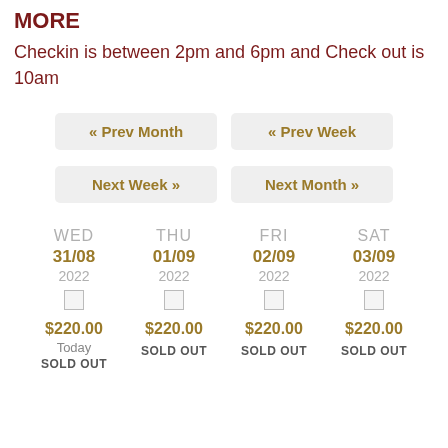MORE
Checkin is between 2pm and 6pm and Check out is 10am
« Prev Month   « Prev Week   Next Week »   Next Month »
| WED 31/08 2022 | THU 01/09 2022 | FRI 02/09 2022 | SAT 03/09 2022 |
| --- | --- | --- | --- |
| $220.00
Today
SOLD OUT | $220.00
SOLD OUT | $220.00
SOLD OUT | $220.00
SOLD OUT |